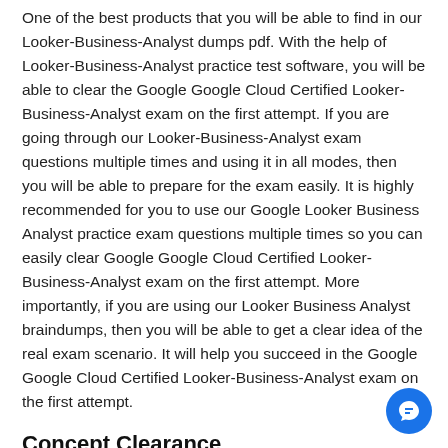One of the best products that you will be able to find in our Looker-Business-Analyst dumps pdf. With the help of Looker-Business-Analyst practice test software, you will be able to clear the Google Google Cloud Certified Looker-Business-Analyst exam on the first attempt. If you are going through our Looker-Business-Analyst exam questions multiple times and using it in all modes, then you will be able to prepare for the exam easily. It is highly recommended for you to use our Google Looker Business Analyst practice exam questions multiple times so you can easily clear Google Google Cloud Certified Looker-Business-Analyst exam on the first attempt. More importantly, if you are using our Looker Business Analyst braindumps, then you will be able to get a clear idea of the real exam scenario. It will help you succeed in the Google Google Cloud Certified Looker-Business-Analyst exam on the first attempt.
Concept Clearance
With the help of our Google Looker-Business-Analyst